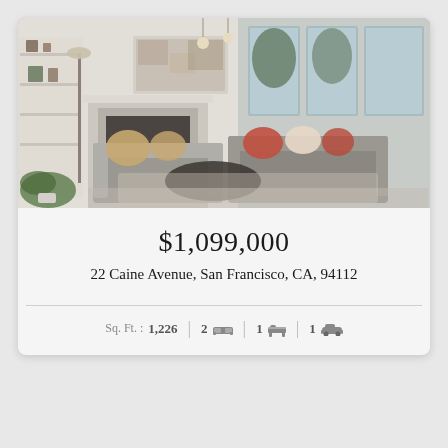[Figure (photo): Interior living room photo showing a bright, modern space with white brick fireplace, shelving units, gray sofas with colorful pillows, a glass coffee table, hanging pendant lights, and large windows with natural light.]
$1,099,000
22 Caine Avenue, San Francisco, CA, 94112
Sq. Ft. : 1,226  |  2 [bed]  |  1 [bath]  |  1 [car]